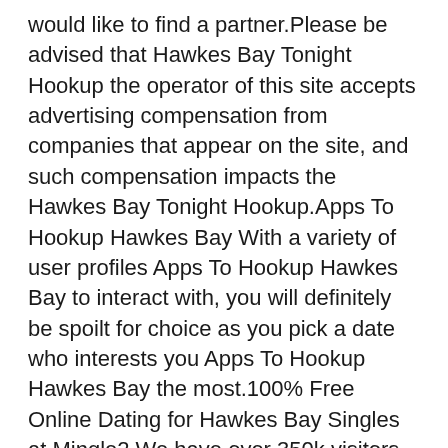would like to find a partner.Please be advised that Hawkes Bay Tonight Hookup the operator of this site accepts advertising compensation from companies that appear on the site, and such compensation impacts the Hawkes Bay Tonight Hookup.Apps To Hookup Hawkes Bay With a variety of user profiles Apps To Hookup Hawkes Bay to interact with, you will definitely be spoilt for choice as you pick a date who interests you Apps To Hookup Hawkes Bay the most.100% Free Online Dating for Hawkes Bay Singles at Mingle2.We have over 350k visitors to the site every month looking for fun!The online world can be rough for Hawkes Bay Hookup Online women, but finding the best dating sites for Hawkes Bay Hookup Online women is its own type of intimidating.Bab76005 Allentown (PA) Meet Local Women Meet Single Dads Meet for Marriage Meet Chat Free a man looking for a man.Yet Zoosk has taken online dating by storm with its Behavioral